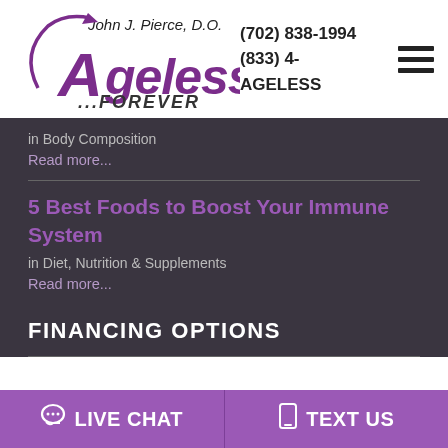[Figure (logo): Ageless Forever logo with John J. Pierce, D.O. text, purple stylized A with swirl]
(702) 838-1994
(833) 4-AGELESS
in Body Composition
Read more...
5 Best Foods to Boost Your Immune System
in Diet, Nutrition & Supplements
Read more...
FINANCING OPTIONS
LIVE CHAT
TEXT US